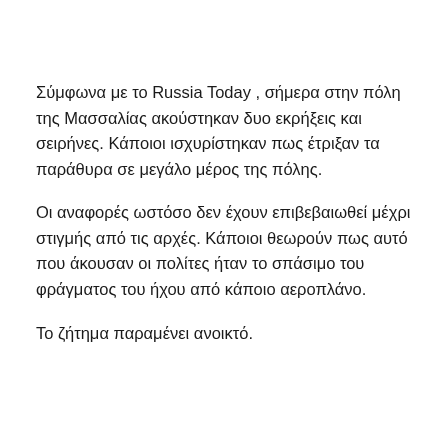Σύμφωνα με το Russia Today , σήμερα στην πόλη της Μασσαλίας ακούστηκαν δυο εκρήξεις και σειρήνες. Κάποιοι ισχυρίστηκαν πως έτριξαν τα παράθυρα σε μεγάλο μέρος της πόλης.
Οι αναφορές ωστόσο δεν έχουν επιβεβαιωθεί μέχρι στιγμής από τις αρχές. Κάποιοι θεωρούν πως αυτό που άκουσαν οι πολίτες ήταν το σπάσιμο του φράγματος του ήχου από κάποιο αεροπλάνο.
Το ζήτημα παραμένει ανοικτό.